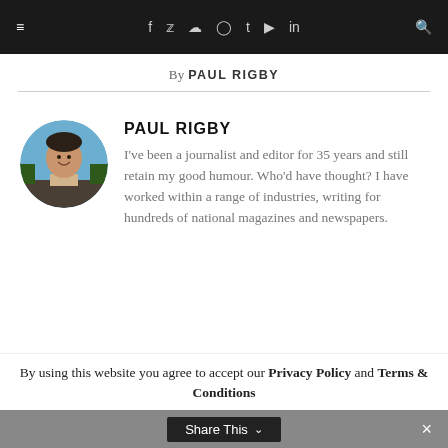≡  f  ✦  ◎  ℗  t  ▶  in  🔍
By PAUL RIGBY
[Figure (photo): Circular profile photo of Paul Rigby, a smiling man outdoors]
PAUL RIGBY
I've been a journalist and editor for 35 years and still retain my good humour. Who'd have thought? I have worked within a range of industries, writing for hundreds of national magazines and newspapers.
By using this website you agree to accept our Privacy Policy and Terms & Conditions
Share This